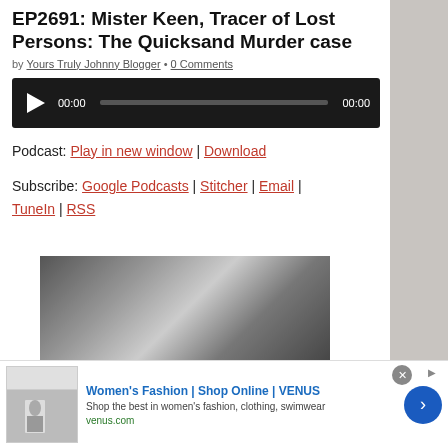EP2691: Mister Keen, Tracer of Lost Persons: The Quicksand Murder case
by Yours Truly Johnny Blogger • 0 Comments
[Figure (other): Audio player with play button, time 00:00, progress bar, and end time 00:00 on black background]
Podcast: Play in new window | Download
Subscribe: Google Podcasts | Stitcher | Email | TuneIn | RSS
[Figure (photo): Black and white photograph showing a person's head/face partially visible, textured background]
[Figure (other): Advertisement banner for Women's Fashion | Shop Online | VENUS - Shop the best in women's fashion, clothing, swimwear - venus.com]